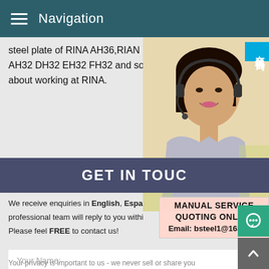Navigation
steel plate of RINA AH36,RIAN DH36,RIN. AH32 DH32 EH32 FH32 and so on.20181 about working at RINA.
GET IN TOUC
We receive enquiries in English, Espa... professional team will reply to you withi... Please feel FREE to contact us!
[Figure (photo): Customer service representative woman wearing headset, smiling]
MANUAL SERVICE
QUOTING ONLINE
Email: bsteel1@163.com
Your Name:
Your E-mail:
Your privacy is important to us - we never sell or share you